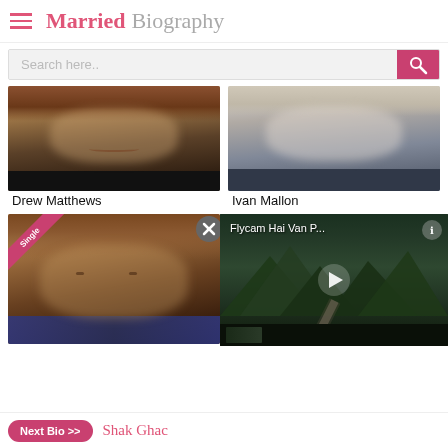Married Biography
Search here..
[Figure (photo): Photo of Drew Matthews - man with reddish-brown hair smiling, dark shirt]
Drew Matthews
[Figure (photo): Photo of Ivan Mallon - fair-skinned young man, light hair, dark jacket]
Ivan Mallon
[Figure (photo): Photo of young man with brown wavy hair, plaid shirt, Single badge overlay]
[Figure (photo): Photo of another person with brown hair, Single badge overlay, partially obscured by video]
[Figure (screenshot): Video thumbnail overlay: Flycam Hai Van P... showing aerial mountain road scene with play button]
Flycam Hai Van P...
Next Bio >> Shak Ghac